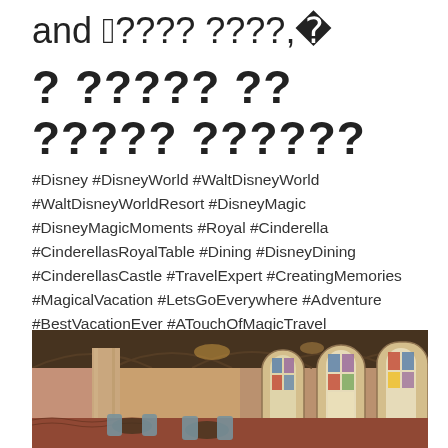and P???? ????, 
? ????? ?? ????? ??????
#Disney #DisneyWorld #WaltDisneyWorld #WaltDisneyWorldResort #DisneyMagic #DisneyMagicMoments #Royal #Cinderella #CinderellasRoyalTable #Dining #DisneyDining #CinderellasCastle #TravelExpert #CreatingMemories #MagicalVacation #LetsGoEverywhere #Adventure #BestVacationEver #ATouchOfMagicTravel
[Figure (photo): Interior of Cinderella's Royal Table restaurant inside Cinderella Castle at Walt Disney World, showing gothic arched ceilings, stone columns, stained glass windows, and elegantly set dining tables with blue chairs.]